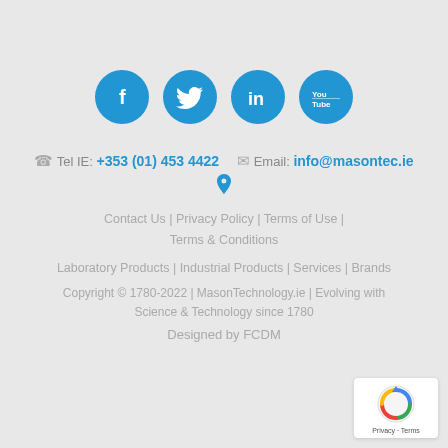[Figure (illustration): Four blue circular social media icons in a row: Facebook (f), Twitter (bird), LinkedIn (in), YouTube (You/Tube)]
Tel IE: +353 (01) 453 4422   Email: info@masontec.ie
[Figure (illustration): Blue map pin / location icon]
Contact Us | Privacy Policy | Terms of Use | Terms & Conditions
Laboratory Products | Industrial Products | Services | Brands
Copyright © 1780-2022 | MasonTechnology.ie | Evolving with Science & Technology since 1780
Designed by FCDM
[Figure (illustration): reCAPTCHA badge with logo and Privacy - Terms text]